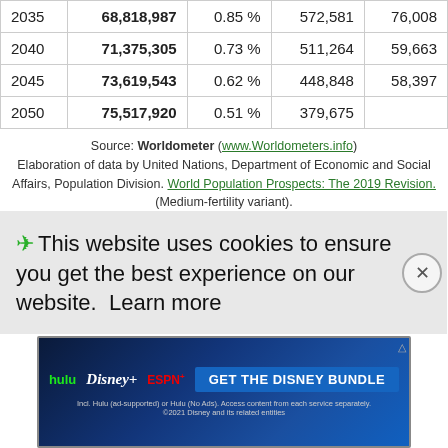| Year | Population | Yearly Change | Yearly Change (abs) | Migrants |
| --- | --- | --- | --- | --- |
| 2035 | 68,818,987 | 0.85 % | 572,581 | 76,008 |
| 2040 | 71,375,305 | 0.73 % | 511,264 | 59,663 |
| 2045 | 73,619,543 | 0.62 % | 448,848 | 58,397 |
| 2050 | 75,517,920 | 0.51 % | 379,675 |  |
Source: Worldometer (www.Worldometers.info) Elaboration of data by United Nations, Department of Economic and Social Affairs, Population Division. World Population Prospects: The 2019 Revision. (Medium-fertility variant).
South Africa Demographics
This website uses cookies to ensure you get the best experience on our website. Learn more
[Figure (other): Advertisement banner for Disney Bundle (Hulu, Disney+, ESPN+)]